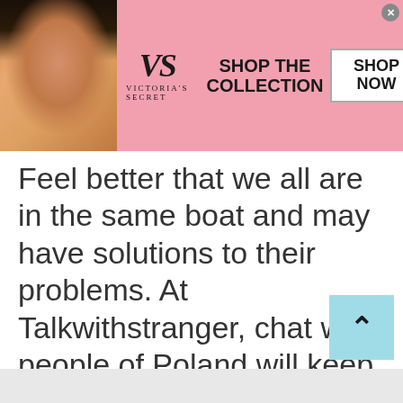[Figure (screenshot): Victoria's Secret advertisement banner with pink background, model on left, VS logo and 'SHOP THE COLLECTION' text, and 'SHOP NOW' button on right]
Feel better that we all are in the same boat and may have solutions to their problems. At Talkwithstranger, chat with people of Poland will keep you light and fresh. Go ahead! Enjoy the perks of a free chatroom. It's on your fingertips at Talkwithstranger.
[Figure (screenshot): Dickies Official Site advertisement banner with dark image on left showing 'DE IN DICKI' text, ad title, description and blue arrow button on right]